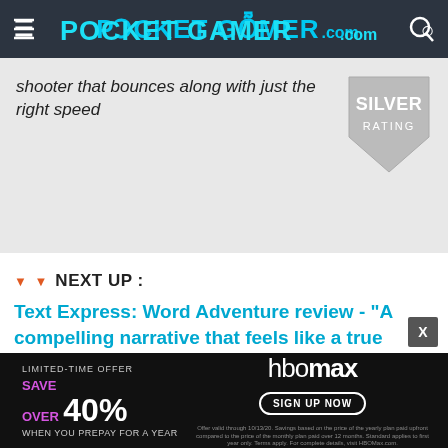POCKET GAMER .com
shooter that bounces along with just the right speed
[Figure (illustration): Silver rating badge - a grey downward-pointing pentagon/shield shape with 'SILVER' in bold and 'RATING' below]
NEXT UP :
Text Express: Word Adventure review - "A compelling narrative that feels like a true labour of love"
ADVERTISEMENT
[Figure (illustration): HBO Max advertisement banner - dark background, 'LIMITED-TIME OFFER SAVE OVER 40% WHEN YOU PREPAY FOR A YEAR' on left, HBO Max logo in center with 'SIGN UP NOW' button, fine print below]